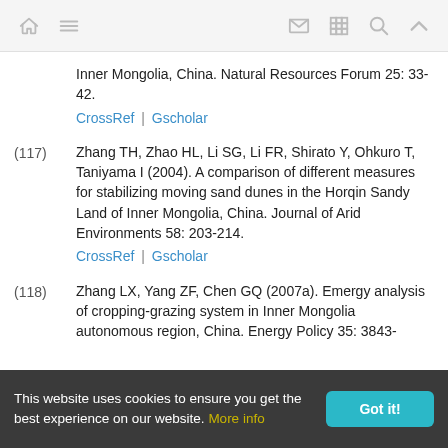Navigation bar with home, menu, mail, grid, search, and up icons
Inner Mongolia, China. Natural Resources Forum 25: 33-42. CrossRef | Gscholar
(117) Zhang TH, Zhao HL, Li SG, Li FR, Shirato Y, Ohkuro T, Taniyama I (2004). A comparison of different measures for stabilizing moving sand dunes in the Horqin Sandy Land of Inner Mongolia, China. Journal of Arid Environments 58: 203-214. CrossRef | Gscholar
(118) Zhang LX, Yang ZF, Chen GQ (2007a). Emergy analysis of cropping-grazing system in Inner Mongolia autonomous region, China. Energy Policy 35: 3843-
This website uses cookies to ensure you get the best experience on our website. More info